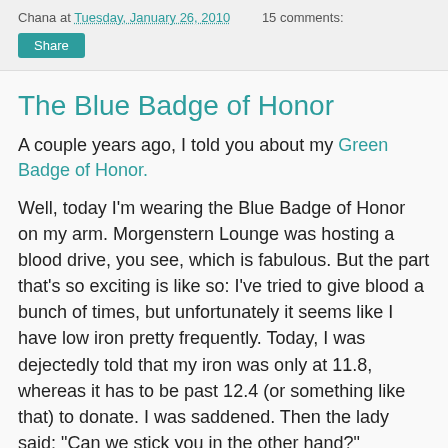Chana at Tuesday, January 26, 2010   15 comments:
The Blue Badge of Honor
A couple years ago, I told you about my Green Badge of Honor.
Well, today I'm wearing the Blue Badge of Honor on my arm. Morgenstern Lounge was hosting a blood drive, you see, which is fabulous. But the part that's so exciting is like so: I've tried to give blood a bunch of times, but unfortunately it seems like I have low iron pretty frequently. Today, I was dejectedly told that my iron was only at 11.8, whereas it has to be past 12.4 (or something like that) to donate. I was saddened. Then the lady said: "Can we stick you in the other hand?"
"Please!" I exclaimed happily. I had never realized it made a